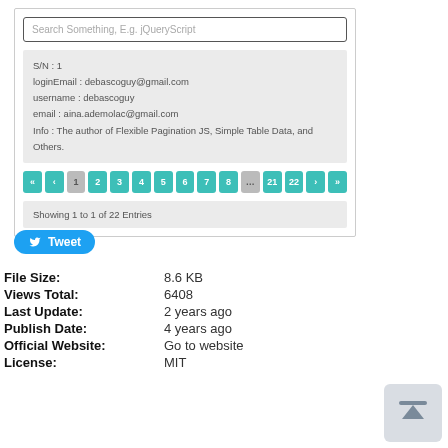[Figure (screenshot): Search box UI with placeholder text 'Search Something, E.g. jQueryScript']
S/N : 1
loginEmail : debascoguy@gmail.com
username : debascoguy
email : aina.ademolaс@gmail.com
Info : The author of Flexible Pagination JS, Simple Table Data, and Others.
Pagination: « < 1 2 3 4 5 6 7 8 ... 21 22 > »
Showing 1 to 1 of 22 Entries
[Figure (other): Tweet button with Twitter bird icon]
File Size: 8.6 KB
Views Total: 6408
Last Update: 2 years ago
Publish Date: 4 years ago
Official Website: Go to website
License: MIT